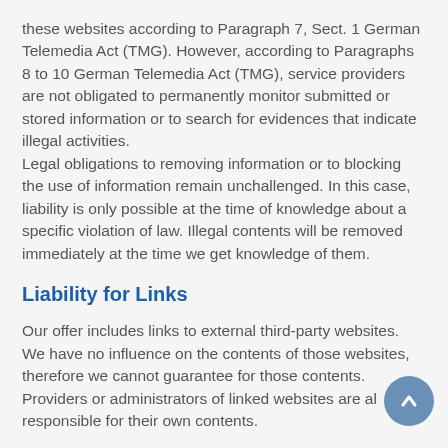these websites according to Paragraph 7, Sect. 1 German Telemedia Act (TMG). However, according to Paragraphs 8 to 10 German Telemedia Act (TMG), service providers are not obligated to permanently monitor submitted or stored information or to search for evidences that indicate illegal activities.
Legal obligations to removing information or to blocking the use of information remain unchallenged. In this case, liability is only possible at the time of knowledge about a specific violation of law. Illegal contents will be removed immediately at the time we get knowledge of them.
Liability for Links
Our offer includes links to external third-party websites. We have no influence on the contents of those websites, therefore we cannot guarantee for those contents. Providers or administrators of linked websites are also responsible for their own contents.